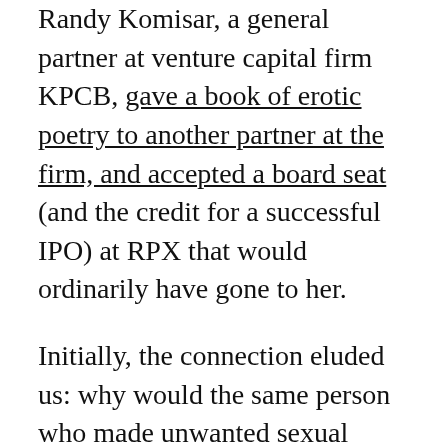Randy Komisar, a general partner at venture capital firm KPCB, gave a book of erotic poetry to another partner at the firm, and accepted a board seat (and the credit for a successful IPO) at RPX that would ordinarily have gone to her.
Initially, the connection eluded us: why would the same person who made unwanted sexual advances also fake expense reports, plagiarize, or take credit for other people's work? We remembered that people who will admit to attempting or committing sexual assault also disproportionately commit other types of violence and that “criminal versatility” is a hallmark of sexual predators. And we noted